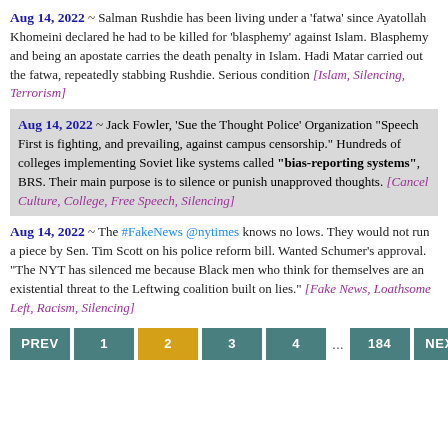Aug 14, 2022 ~ Salman Rushdie has been living under a 'fatwa' since Ayatollah Khomeini declared he had to be killed for 'blasphemy' against Islam. Blasphemy and being an apostate carries the death penalty in Islam. Hadi Matar carried out the fatwa, repeatedly stabbing Rushdie. Serious condition [Islam, Silencing, Terrorism]
Aug 14, 2022 ~ Jack Fowler, 'Sue the Thought Police' Organization "Speech First is fighting, and prevailing, against campus censorship." Hundreds of colleges implementing Soviet like systems called "bias-reporting systems", BRS. Their main purpose is to silence or punish unapproved thoughts. [Cancel Culture, College, Free Speech, Silencing]
Aug 14, 2022 ~ The #FakeNews @nytimes knows no lows. They would not run a piece by Sen. Tim Scott on his police reform bill. Wanted Schumer's approval. "The NYT has silenced me because Black men who think for themselves are an existential threat to the Leftwing coalition built on lies." [Fake News, Loathsome Left, Racism, Silencing]
Pagination: PREV 1 2 3 4 ... 184 NEXT